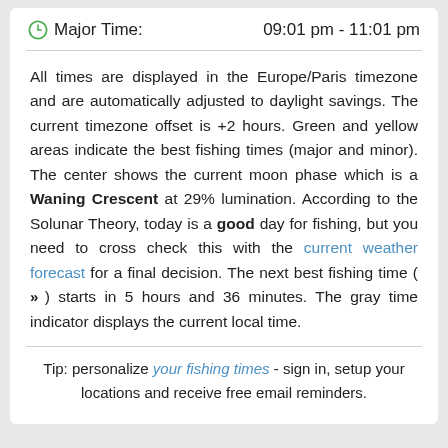Major Time:    09:01 pm - 11:01 pm
All times are displayed in the Europe/Paris timezone and are automatically adjusted to daylight savings. The current timezone offset is +2 hours. Green and yellow areas indicate the best fishing times (major and minor). The center shows the current moon phase which is a Waning Crescent at 29% lumination. According to the Solunar Theory, today is a good day for fishing, but you need to cross check this with the current weather forecast for a final decision. The next best fishing time ( >> ) starts in 5 hours and 36 minutes. The gray time indicator displays the current local time.
Tip: personalize your fishing times - sign in, setup your locations and receive free email reminders.